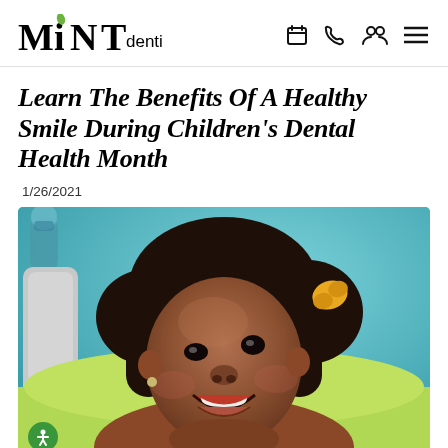MINT dentistry
Learn The Benefits Of A Healthy Smile During Children's Dental Health Month
1/26/2021
[Figure (photo): A smiling young Black girl with curly hair in pigtails and a yellow bow, wearing a green dental bib, lying in a dental chair. Teal background. A dental staff member in blue is visible in the background.]